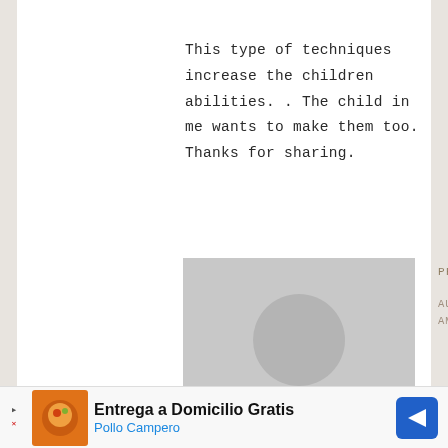This type of techniques increase the children abilities. . The child in me wants to make them too. Thanks for sharing.
Reply
[Figure (photo): Gray placeholder avatar silhouette of a person]
PRINTING ONLINE says
AUGUST 5, 2017 AT 1:45 AM
[Figure (infographic): Advertisement banner: Entrega a Domicilio Gratis - Pollo Campero]